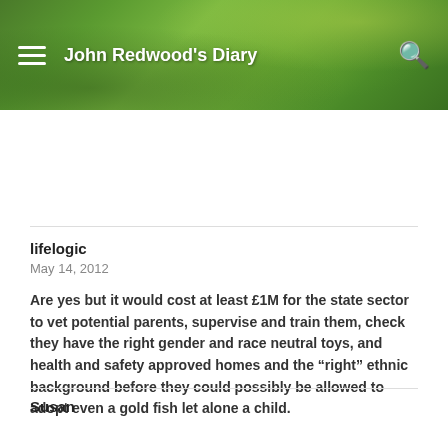John Redwood's Diary
lifelogic
May 14, 2012
Are yes but it would cost at least £1M for the state sector to vet potential parents, supervise and train them, check they have the right gender and race neutral toys, and health and safety approved homes and the “right” ethnic background before they could possibly be allowed to adopt even a gold fish let alone a child.
Susan